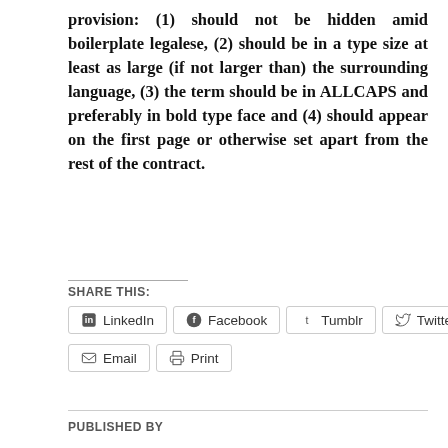provision: (1) should not be hidden amid boilerplate legalese, (2) should be in a type size at least as large (if not larger than) the surrounding language, (3) the term should be in ALLCAPS and preferably in bold type face and (4) should appear on the first page or otherwise set apart from the rest of the contract.
SHARE THIS:
LinkedIn | Facebook | Tumblr | Twitter | Email | Print
PUBLISHED BY